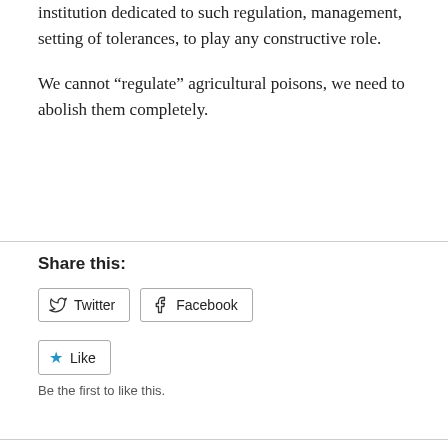institution dedicated to such regulation, management, setting of tolerances, to play any constructive role.
We cannot “regulate” agricultural poisons, we need to abolish them completely.
Share this:
[Figure (other): Twitter and Facebook share buttons]
[Figure (other): Like button with star icon]
Be the first to like this.